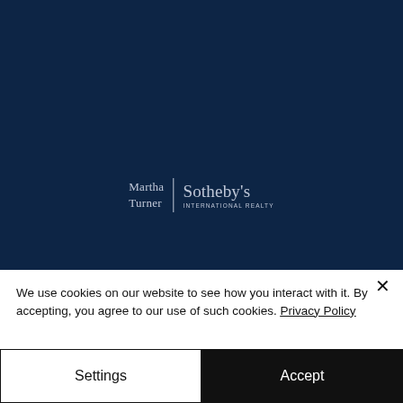[Figure (logo): Martha Turner Sotheby's International Realty logo on dark navy background]
We use cookies on our website to see how you interact with it. By accepting, you agree to our use of such cookies. Privacy Policy
Settings
Accept